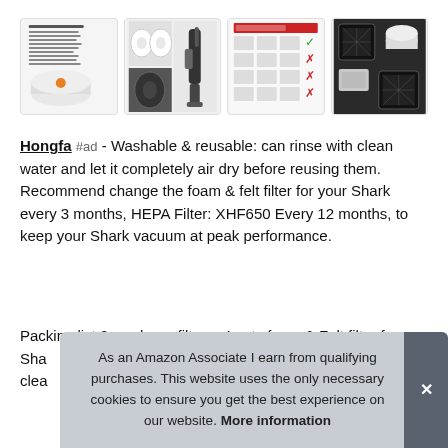[Figure (photo): Four product images: instruction sheet with cylindrical foam filter, two rolls of filter material and upright vacuum cleaner, compatibility chart with checkmarks and X marks, and assorted filter components on dark background]
Hongfa #ad - Washable & reusable: can rinse with clean water and let it completely air dry before reusing them. Recommend change the foam & felt filter for your Shark every 3 months, HEPA Filter: XHF650 Every 12 months, to keep your Shark vacuum at peak performance.
Packing list:2 pcs hepa filter + 4 sets foam & Felt filter for Sha... clea...
As an Amazon Associate I earn from qualifying purchases. This website uses the only necessary cookies to ensure you get the best experience on our website. More information